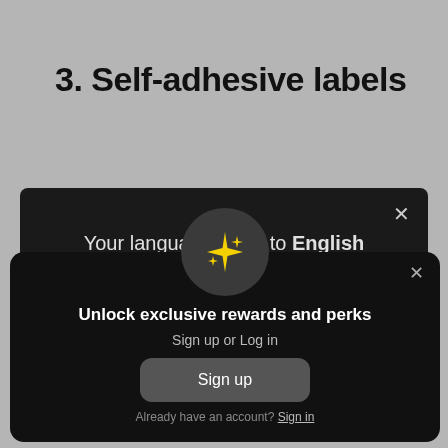3. Self-adhesive labels
[Figure (screenshot): Dark modal dialog showing 'Your language is set to English' with a close X button in the top right corner]
[Figure (screenshot): Dark modal dialog with sparkle star icon in a dark circle, heading 'Unlock exclusive rewards and perks', subtext 'Sign up or Log in', a 'Sign up' button, and 'Already have an account? Sign in' link]
intact.